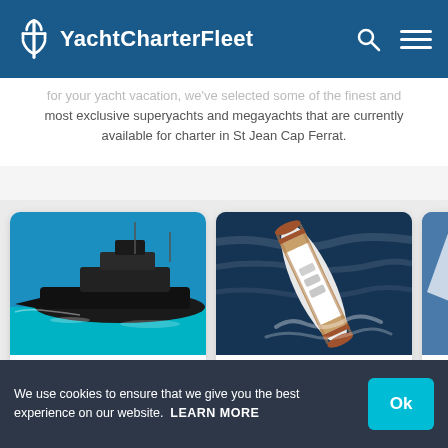YachtCharterFleet
for your yacht vacation, we've selected some of the finest and most exclusive superyachts and megayachts that are currently available for charter in St Jean Cap Ferrat.
[Figure (photo): Aerial/side view of large dark-hulled superyacht ALFA NERO in turquoise waters]
ALFA NERO
81m Oceanco
from $808,000 p/week
[Figure (photo): Aerial view of large white and wood superyacht JOY at sea]
JOY
70m Feadship
from $696,500 p/week
[Figure (photo): Partial view of third yacht card, cropped]
OK...
66m...
from...
We use cookies to ensure that we give you the best experience on our website.  LEARN MORE